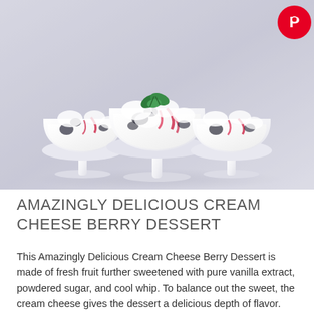[Figure (photo): Three white milk-glass footed dessert bowls filled with cream cheese berry dessert showing swirls of whipped cream, blueberries, and strawberries, garnished with fresh mint leaves. Light background.]
AMAZINGLY DELICIOUS CREAM CHEESE BERRY DESSERT
This Amazingly Delicious Cream Cheese Berry Dessert is made of fresh fruit further sweetened with pure vanilla extract, powdered sugar, and cool whip. To balance out the sweet, the cream cheese gives the dessert a delicious depth of flavor. Top it off with graham cracker